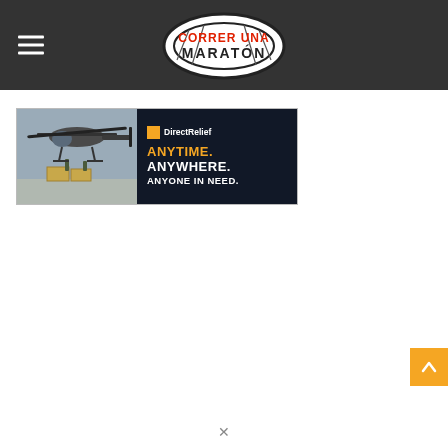Correr Una Maraton - website header with logo and hamburger menu
[Figure (logo): Correr Una Maratón logo - stylized shoe sole shape with red and black text on white/gray background]
[Figure (infographic): Direct Relief banner advertisement: left side shows military helicopter loading cargo, right side dark background with orange DirectRelief logo and text ANYTIME. ANYWHERE. ANYONE IN NEED.]
[Figure (other): Orange scroll-to-top button with white upward arrow chevron, positioned at bottom right]